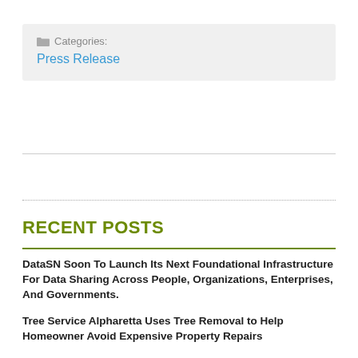Categories:
Press Release
RECENT POSTS
DataSN Soon To Launch Its Next Foundational Infrastructure For Data Sharing Across People, Organizations, Enterprises, And Governments.
Tree Service Alpharetta Uses Tree Removal to Help Homeowner Avoid Expensive Property Repairs
W88Green is a prestigious partner of many clubs in the Premier League